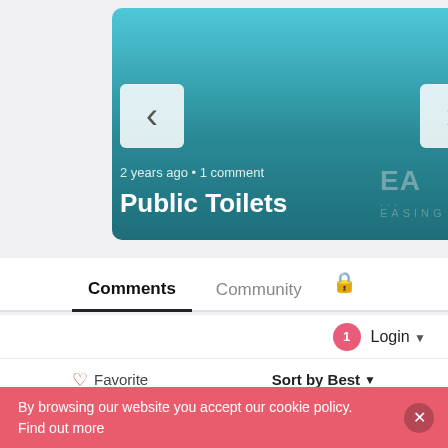[Figure (screenshot): Carousel card showing 'Public Toilets' article with teal gradient background, left chevron arrow, and '2 years ago • 1 comment' metadata, plus partial right card and EA EASING watermark]
Comments  Community  🔒
1  Login ▾
♡ Favorite     Sort by Best ▾
Start the discussion...
By browsing our website you accept our cookie policy. Find out more